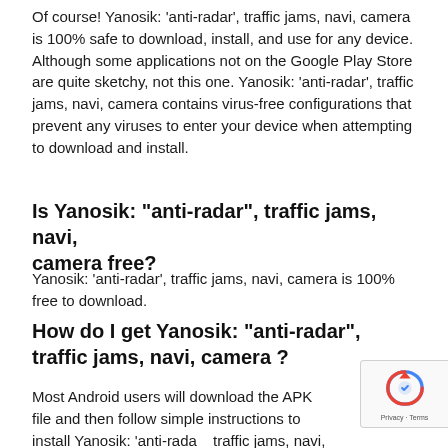Of course! Yanosik: 'anti-radar', traffic jams, navi, camera is 100% safe to download, install, and use for any device. Although some applications not on the Google Play Store are quite sketchy, not this one. Yanosik: 'anti-radar', traffic jams, navi, camera contains virus-free configurations that prevent any viruses to enter your device when attempting to download and install.
Is Yanosik: "anti-radar", traffic jams, navi, camera free?
Yanosik: 'anti-radar', traffic jams, navi, camera is 100% free to download.
How do I get Yanosik: "anti-radar", traffic jams, navi, camera ?
Most Android users will download the APK file and then follow simple instructions to install Yanosik: 'anti-radar', traffic jams, navi, camera . You can refer to our installation guide to learn more.